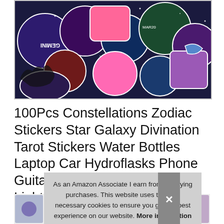[Figure (photo): Collection of colorful zodiac and constellation vinyl stickers showing various astrological signs including Gemini, Scorpio, Libra, Pisces and others with galaxy/starry backgrounds]
100Pcs Constellations Zodiac Stickers Star Galaxy Divination Tarot Stickers Water Bottles Laptop Car Hydroflasks Phone Guitar Skateboard Northern Lights Starry Sky Vinyl Sticker for Teens Bo...
[Figure (photo): Thumbnail strip showing additional product images of sticker collections]
As an Amazon Associate I earn from qualifying purchases. This website uses the only necessary cookies to ensure you get the best experience on our website. More information